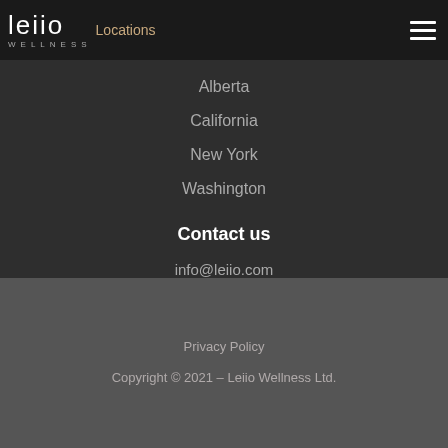leiio WELLNESS — Locations
Alberta
California
New York
Washington
Contact us
info@leiio.com
Privacy Policy
Copyright © 2021 – Leiio Wellness Ltd.